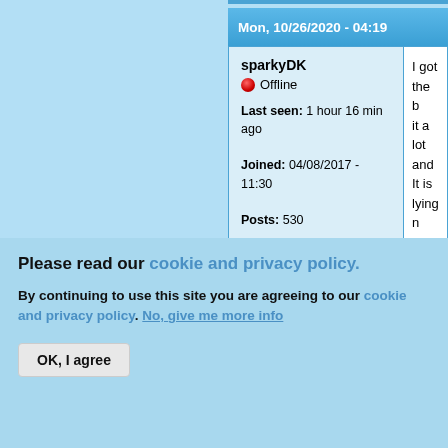Mon, 10/26/2020 - 04:19
sparkyDK
Offline
Last seen: 1 hour 16 min ago
Joined: 04/08/2017 - 11:30
Posts: 530
Location: Denmark
I got the b it a lot and It is lying n my compu
Top
Please read our cookie and privacy policy.
By continuing to use this site you are agreeing to our cookie and privacy policy. No, give me more info
OK, I agree